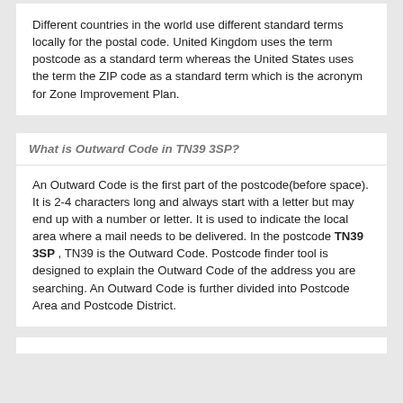Different countries in the world use different standard terms locally for the postal code. United Kingdom uses the term postcode as a standard term whereas the United States uses the term the ZIP code as a standard term which is the acronym for Zone Improvement Plan.
What is Outward Code in TN39 3SP?
An Outward Code is the first part of the postcode(before space). It is 2-4 characters long and always start with a letter but may end up with a number or letter. It is used to indicate the local area where a mail needs to be delivered. In the postcode TN39 3SP , TN39 is the Outward Code. Postcode finder tool is designed to explain the Outward Code of the address you are searching. An Outward Code is further divided into Postcode Area and Postcode District.